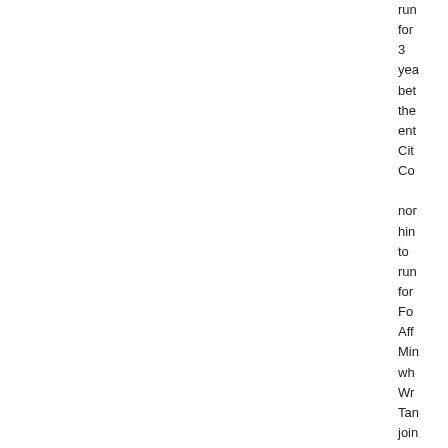run for 3 years between the entities. City Council not hindering to run for Foreign Affairs Minister who when Wright Tanner joined the WAFC. He acknowledged